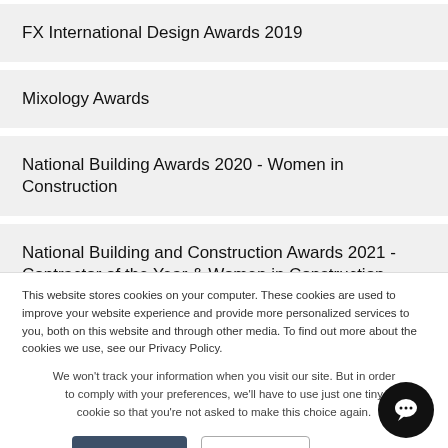FX International Design Awards 2019
Mixology Awards
National Building Awards 2020 - Women in Construction
National Building and Construction Awards 2021 - Contractor of the Year & Women in Construction
This website stores cookies on your computer. These cookies are used to improve your website experience and provide more personalized services to you, both on this website and through other media. To find out more about the cookies we use, see our Privacy Policy.
We won't track your information when you visit our site. But in order to comply with your preferences, we'll have to use just one tiny cookie so that you're not asked to make this choice again.